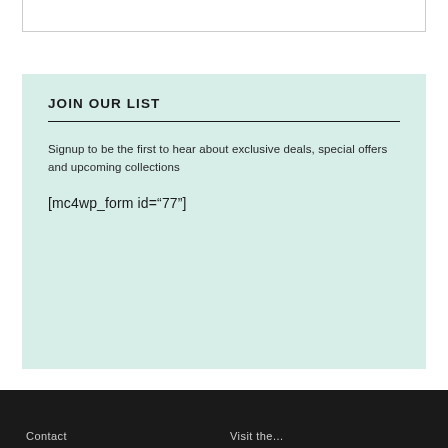JOIN OUR LIST
Signup to be the first to hear about exclusive deals, special offers and upcoming collections
[mc4wp_form id="77"]
Contact   Visit the...